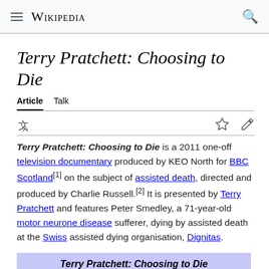Wikipedia
Terry Pratchett: Choosing to Die
Article   Talk
Terry Pratchett: Choosing to Die is a 2011 one-off television documentary produced by KEO North for BBC Scotland[1] on the subject of assisted death, directed and produced by Charlie Russell.[2] It is presented by Terry Pratchett and features Peter Smedley, a 71-year-old motor neurone disease sufferer, dying by assisted death at the Swiss assisted dying organisation, Dignitas.
Terry Pratchett: Choosing to Die